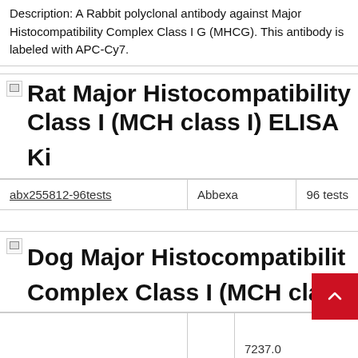Description: A Rabbit polyclonal antibody against Major Histocompatibility Complex Class I G (MHCG). This antibody is labeled with APC-Cy7.
Rat Major Histocompatibility Class I (MCH class I) ELISA Kit
| Product ID | Brand | Size |
| --- | --- | --- |
| abx255812-96tests | Abbexa | 96 tests |
Dog Major Histocompatibility Complex Class I (MCH class I)
|  |  | Price |
| --- | --- | --- |
|  |  | 7237.0 EUR |